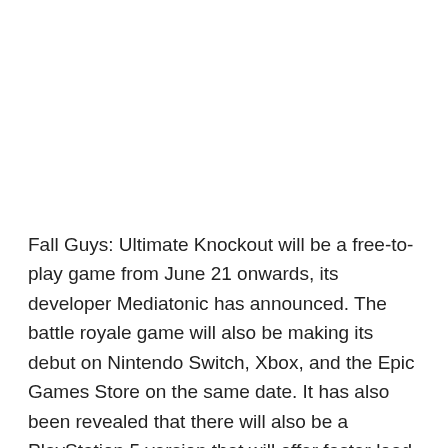Fall Guys: Ultimate Knockout will be a free-to-play game from June 21 onwards, its developer Mediatonic has announced. The battle royale game will also be making its debut on Nintendo Switch, Xbox, and the Epic Games Store on the same date. It has also been revealed that there will also be a PlayStation 5 version that will offer faster load times and other performance upgrades. It will be released at the same time as the Nintendo Switch, Xbox and Epic Games Store versions.